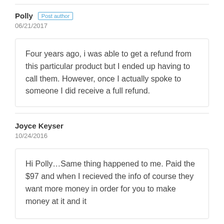Polly  Post author
06/21/2017
Four years ago, i was able to get a refund from this particular product but I ended up having to call them. However, once I actually spoke to someone I did receive a full refund.
Joyce Keyser
10/24/2016
Hi Polly…Same thing happened to me. Paid the $97 and when I recieved the info of course they want more money in order for you to make money at it and it